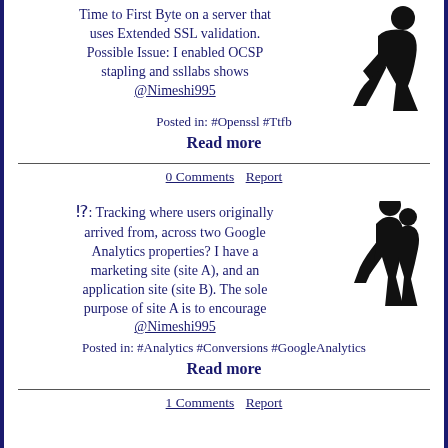Time to First Byte on a server that uses Extended SSL validation. Possible Issue: I enabled OCSP stapling and ssllabs shows @Nimeshi995
Posted in:  #Openssl  #Ttfb
Read more
0 Comments  Report
«: Tracking where users originally arrived from, across two Google Analytics properties? I have a marketing site (site A), and an application site (site B). The sole purpose of site A is to encourage @Nimeshi995
Posted in:  #Analytics  #Conversions  #GoogleAnalytics
Read more
1 Comments  Report